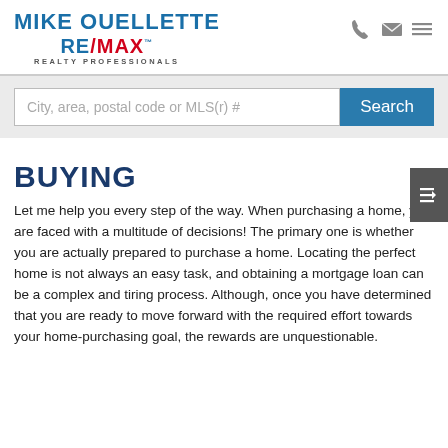MIKE OUELLETTE RE/MAX REALTY PROFESSIONALS
[Figure (other): Search bar with placeholder text 'City, area, postal code or MLS(r) #' and a blue Search button]
BUYING
Let me help you every step of the way. When purchasing a home, you are faced with a multitude of decisions! The primary one is whether you are actually prepared to purchase a home. Locating the perfect home is not always an easy task, and obtaining a mortgage loan can be a complex and tiring process. Although, once you have determined that you are ready to move forward with the required effort towards your home-purchasing goal, the rewards are unquestionable.